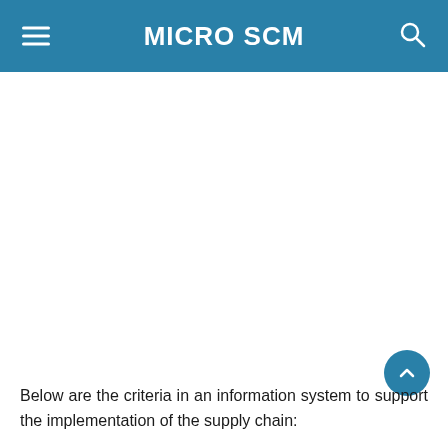MICRO SCM
Below are the criteria in an information system to support the implementation of the supply chain: